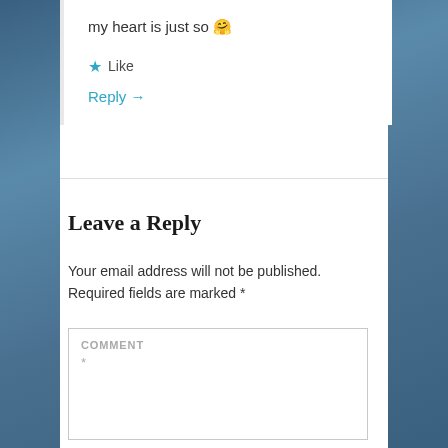my heart is just so 🤗
★ Like
Reply →
Leave a Reply
Your email address will not be published. Required fields are marked *
COMMENT *